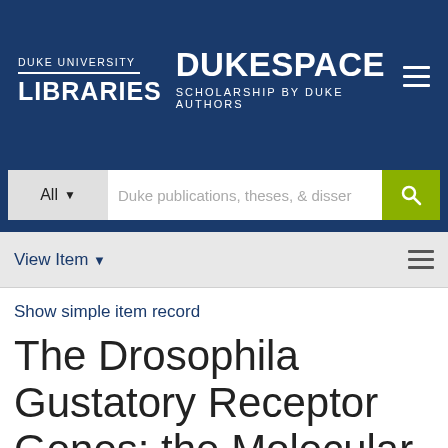DUKE UNIVERSITY LIBRARIES | DUKESPACE SCHOLARSHIP BY DUKE AUTHORS
Duke publications, theses, & disser
View Item
Show simple item record
The Drosophila Gustatory Receptor Genes: the Molecular Basis of Taste Perception and Coding